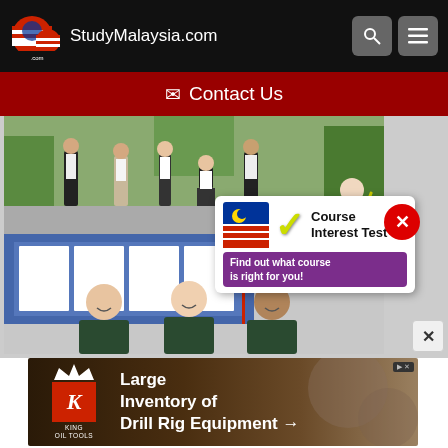StudyMalaysia.com
✉ Contact Us
[Figure (photo): Group of students standing outdoors in front of trees at a school or campus]
[Figure (infographic): Course Interest Test badge/promo overlay with Malaysian flag shield icon, checkmark, and text: 'Course Interest Test – Find out what course is right for you!']
[Figure (photo): Three female students smiling in school uniforms in front of a display board]
[Figure (advertisement): King Oil Tools ad: 'Large Inventory of Drill Rig Equipment →' with King Oil Tools logo]